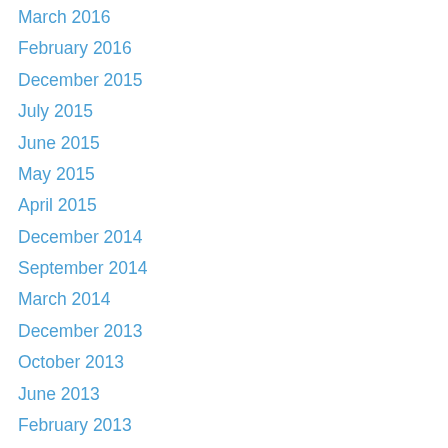March 2016
February 2016
December 2015
July 2015
June 2015
May 2015
April 2015
December 2014
September 2014
March 2014
December 2013
October 2013
June 2013
February 2013
December 2012
November 2012
October 2012
September 2012
July 2012
June 2012